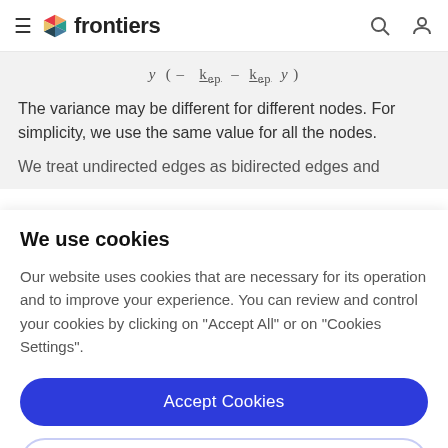frontiers
( ... ∑rep ... ∑rep ... )
The variance may be different for different nodes. For simplicity, we use the same value for all the nodes.
We treat undirected edges as bidirected edges and
We use cookies
Our website uses cookies that are necessary for its operation and to improve your experience. You can review and control your cookies by clicking on "Accept All" or on "Cookies Settings".
Accept Cookies
Cookies Settings